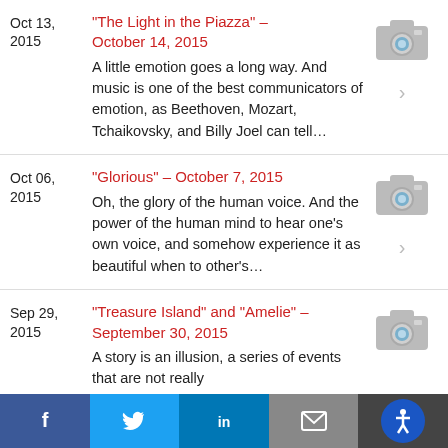Oct 13, 2015 | "The Light in the Piazza" – October 14, 2015 | A little emotion goes a long way. And music is one of the best communicators of emotion, as Beethoven, Mozart, Tchaikovsky, and Billy Joel can tell...
Oct 06, 2015 | "Glorious" – October 7, 2015 | Oh, the glory of the human voice. And the power of the human mind to hear one's own voice, and somehow experience it as beautiful when to other's...
Sep 29, 2015 | "Treasure Island" and "Amelie" – September 30, 2015 | A story is an illusion, a series of events that are not really
Facebook | Twitter | LinkedIn | Email | Accessibility